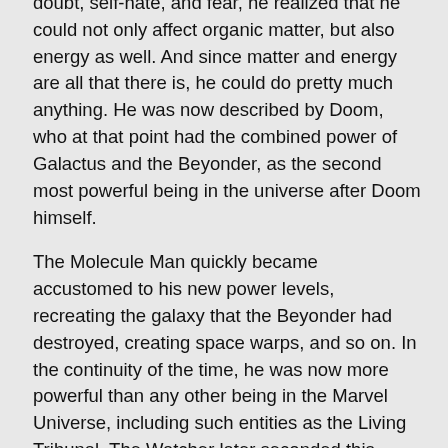doubt, self-hate, and fear, he realized that he could not only affect organic matter, but also energy as well. And since matter and energy are all that there is, he could do pretty much anything. He was now described by Doom, who at that point had the combined power of Galactus and the Beyonder, as the second most powerful being in the universe after Doom himself.
The Molecule Man quickly became accustomed to his new power levels, recreating the galaxy that the Beyonder had destroyed, creating space warps, and so on. In the continuity of the time, he was now more powerful than any other being in the Marvel Universe, including such entities as the Living Tribunal. The Watcher later seconded this assertion, calling Reece the most powerful being in the multiverse (not counting the Beyonder).
During Secret Wars II, he was able to be omniscient when he desired, could teleport, battle the Beyonder (who was